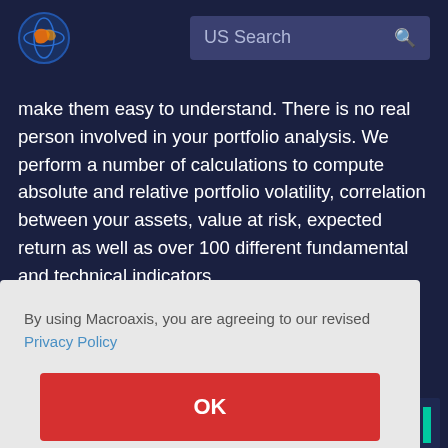US Search
make them easy to understand. There is no real person involved in your portfolio analysis. We perform a number of calculations to compute absolute and relative portfolio volatility, correlation between your assets, value at risk, expected return as well as over 100 different fundamental and technical indicators.
By using Macroaxis, you are agreeing to our revised Privacy Policy
OK